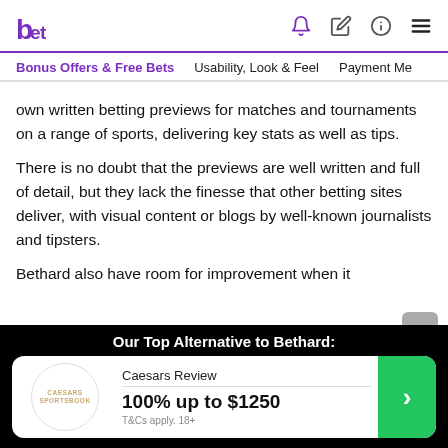betting.net
Bonus Offers & Free Bets | Usability, Look & Feel | Payment Me
own written betting previews for matches and tournaments on a range of sports, delivering key stats as well as tips.
There is no doubt that the previews are well written and full of detail, but they lack the finesse that other betting sites deliver, with visual content or blogs by well-known journalists and tipsters.
Bethard also have room for improvement when it
Our Top Alternative to Bethard:
Caesars Review
100% up to $1250
T&Cs apply. 18+